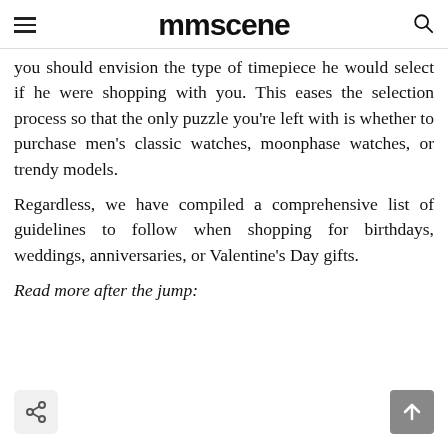mmscene
you should envision the type of timepiece he would select if he were shopping with you. This eases the selection process so that the only puzzle you're left with is whether to purchase men's classic watches, moonphase watches, or trendy models.
Regardless, we have compiled a comprehensive list of guidelines to follow when shopping for birthdays, weddings, anniversaries, or Valentine's Day gifts.
Read more after the jump: